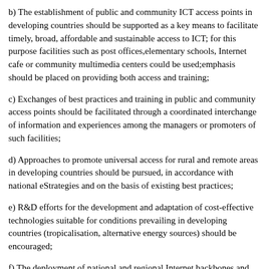b) The establishment of public and community ICT access points in developing countries should be supported as a key means to facilitate timely, broad, affordable and sustainable access to ICT; for this purpose facilities such as post offices,elementary schools, Internet cafe or community multimedia centers could be used;emphasis should be placed on providing both access and training;
c) Exchanges of best practices and training in public and community access points should be facilitated through a coordinated interchange of information and experiences among the managers or promoters of such facilities;
d) Approaches to promote universal access for rural and remote areas in developing countries should be pursued, in accordance with national eStrategies and on the basis of existing best practices;
e) R&D efforts for the development and adaptation of cost-effective technologies suitable for conditions prevailing in developing countries (tropicalisation, alternative energy sources) should be encouraged;
f) The deployment of national and regional Internet backbones and the creation of local Internet Exchange Points (IXPs), should be encouraged, especially through private investment; the development of national and information sources (IXPs) and